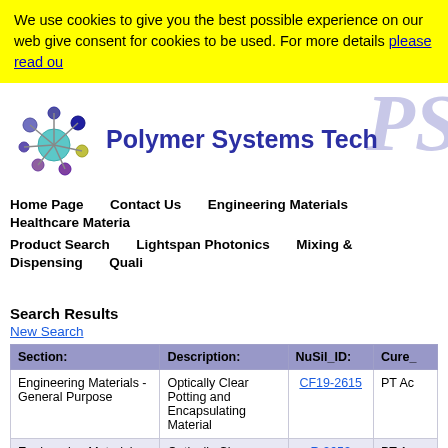We use cookies to give you the best possible experience on our web give consent for cookies to be used. For more details please read ou
[Figure (logo): Polymer Systems Technology logo: molecular structure illustration with colored spheres]
Polymer Systems Tech
Home Page   Contact Us   Engineering Materials   Healthcare Materia
Product Search   Lightspan Photonics   Mixing & Dispensing   Quali
Search Results
New Search
| Section: | Description: | NuSil_ID: | Cure_ |
| --- | --- | --- | --- |
| Engineering Materials - General Purpose | Optically Clear Potting and Encapsulating Material | CF19-2615 | PT Ac |
| Engineering Materials - | Optically Clear Potting and | R 2652 | PT A |